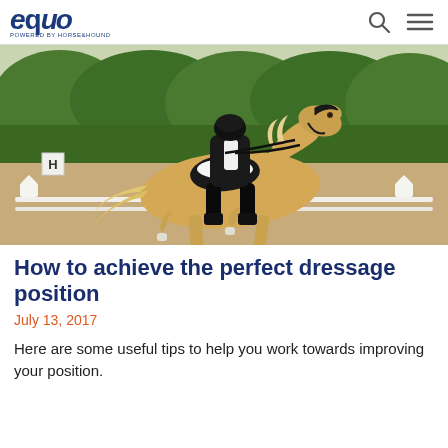equo — powered by Horse & Hound
[Figure (photo): A palomino horse performing dressage in an arena, ridden by a rider in black coat and white breeches, with green hedges in the background and white arena markers visible.]
How to achieve the perfect dressage position
July 13, 2017
Here are some useful tips to help you work towards improving your position.